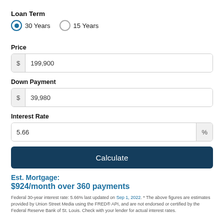Loan Term
30 Years (selected)
15 Years
Price
$ 199,900
Down Payment
$ 39,980
Interest Rate
5.66 %
Calculate
Est. Mortgage:
$924/month over 360 payments
Federal 30-year interest rate: 5.66% last updated on Sep 1, 2022. * The above figures are estimates provided by Union Street Media using the FRED® API, and are not endorsed or certified by the Federal Reserve Bank of St. Louis. Check with your lender for actual interest rates.